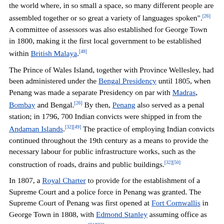the world where, in so small a space, so many different people are assembled together or so great a variety of languages spoken".[26] A committee of assessors was also established for George Town in 1800, making it the first local government to be established within British Malaya.[48]
The Prince of Wales Island, together with Province Wellesley, had been administered under the Bengal Presidency until 1805, when Penang was made a separate Presidency on par with Madras, Bombay and Bengal.[26] By then, Penang also served as a penal station; in 1796, 700 Indian convicts were shipped in from the Andaman Islands.[32][49] The practice of employing Indian convicts continued throughout the 19th century as a means to provide the necessary labour for public infrastructure works, such as the construction of roads, drains and public buildings.[32][50]
In 1807, a Royal Charter to provide for the establishment of a Supreme Court and a police force in Penang was granted. The Supreme Court of Penang was first opened at Fort Cornwallis in George Town in 1808, with Edmond Stanley assuming office as its first Recorder (Judge).[51][52] In the decades that followed, Penang's judiciary and the police force were progressively applied to the Straits Settlements, and later copied throughout British Malaya.[53][54] Hence, Penang was the birthplace of the present-